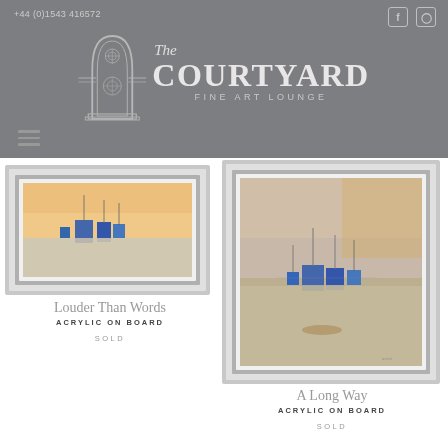+44 (0)1543 416572
The COURTYARD FINE ART LOUNGE
[Figure (illustration): Arch/gate logo for The Courtyard Fine Art Lounge]
[Figure (photo): Framed painting titled 'Louder Than Words' showing boats on water with warm sunset sky, white silver frame, landscape orientation]
Louder Than Words
ACRYLIC ON BOARD
SOLD
[Figure (photo): Framed painting titled 'A Long Way' showing boats on water with muted sky and reflections, white silver frame, portrait orientation]
A Long Way
ACRYLIC ON BOARD
SOLD